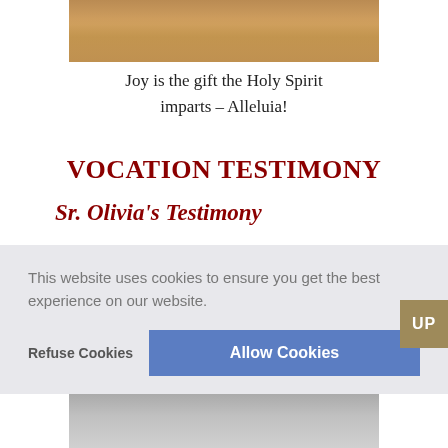[Figure (photo): Top portion of a photo showing a wooden floor interior, cropped at the top edge of the page.]
Joy is the gift the Holy Spirit imparts – Alleluia!
VOCATION TESTIMONY
Sr. Olivia's Testimony
“My soul glorifies the Lord, my spirit rejoices in God my Saviour.” Luke 1:46
This website uses cookies to ensure you get the best experience on our website.
[Figure (photo): Bottom strip of a photo, partially visible at the bottom edge of the page.]